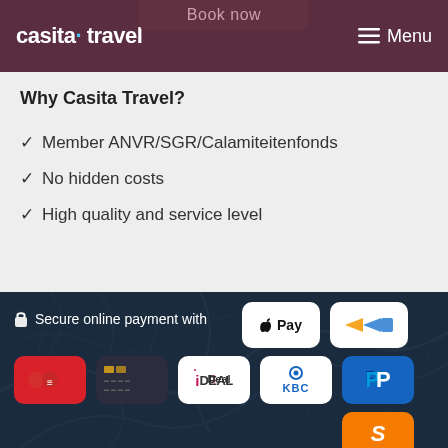Book now | casita travel | Menu
Why Casita Travel?
Member ANVR/SGR/Calamiteitenfonds
No hidden costs
High quality and service level
[Figure (infographic): Secure online payment section with payment method logos: Apple Pay, Sofort, Maestro/credit card (generic), iDEAL, KBC, PayPal, and an orange S-branded badge]
Secure online payment with